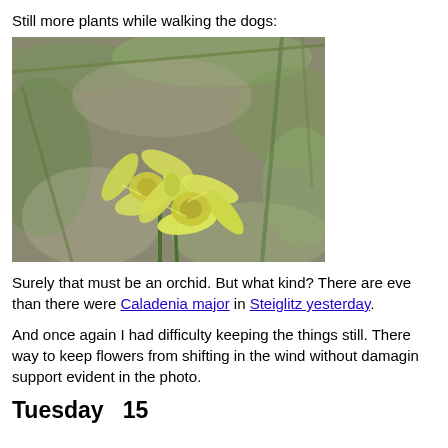Still more plants while walking the dogs:
[Figure (photo): Close-up photograph of yellow orchid flowers (Caladenia) against a blurred green grassy background. Two star-shaped pale yellow flowers with darker yellow centers are visible on slender green stems.]
Surely that must be an orchid. But what kind? There are eve than there were Caladenia major in Steiglitz yesterday.
And once again I had difficulty keeping the things still. There way to keep flowers from shifting in the wind without damagin support evident in the photo.
Tuesday 15